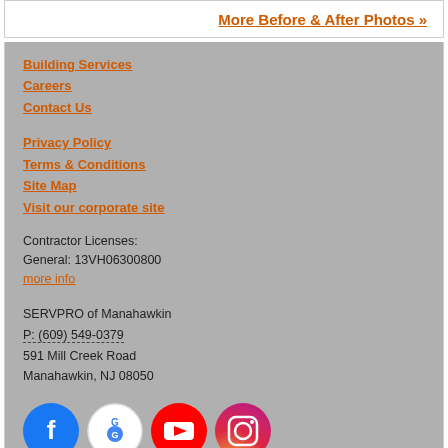More Before & After Photos »
Building Services
Careers
Contact Us
Privacy Policy
Terms & Conditions
Site Map
Visit our corporate site
Contractor Licenses:
General: 13VH06300800
more info
SERVPRO of Manahawkin
P: (609) 549-0379
591 Mill Creek Road
Manahawkin, NJ 08050
[Figure (logo): Social media icons: Facebook, Google My Business, YouTube, Instagram]
© Servpro Industries, LLC. – All services in the U.S. performed by independently owned and operated franchises of Servpro Industries, LLC.
© Servpro Industries (Canada) ULC – All services in Canada performed by independently owned and operated franchises of Servpro Industries (Canada) ULC.